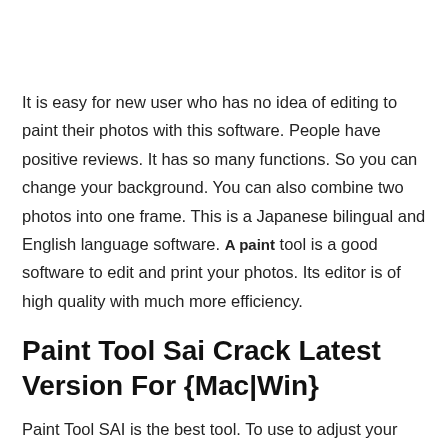It is easy for new user who has no idea of editing to paint their photos with this software. People have positive reviews. It has so many functions. So you can change your background. You can also combine two photos into one frame. This is a Japanese bilingual and English language software. A paint tool is a good software to edit and print your photos. Its editor is of high quality with much more efficiency.
Paint Tool Sai Crack Latest Version For {Mac|Win}
Paint Tool SAI is the best tool. To use to adjust your photos. It is